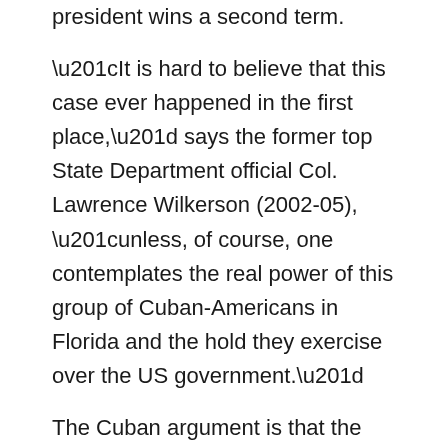president wins a second term.
“It is hard to believe that this case ever happened in the first place,” says the former top State Department official Col. Lawrence Wilkerson (2002-05), “unless, of course, one contemplates the real power of this group of Cuban-Americans in Florida and the hold they exercise over the US government.”
The Cuban argument is that the Five were sent to Florida to monitor the Cuban exile community after many bombings and deaths coordinated by Luis Posada Carriles, a former US CIA informant still living in Miami. Last week marked the fourteenth year since the Five were arrested in 1998. Four remain held in high-security US prisons while one, Rene Gonzales, has completed a